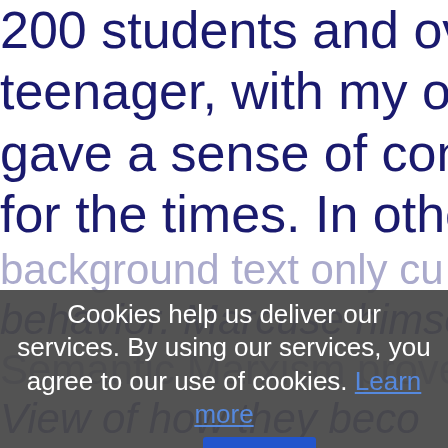200 students and overflowing. As a teenager, with my own angst, this gave a sense of connection and for the times. In other words, co... behavior. Marcuse himself was... alternative vie...
Cookies help us deliver our services. By using our services, you agree to our use of cookies. Learn more
OK